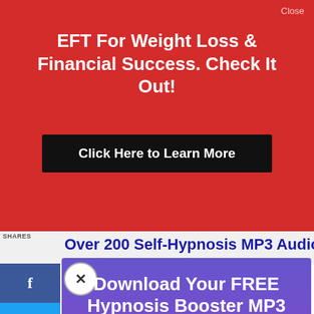EFT For Weight Loss & Financial Success. Check It Out!
Click Here to Learn More
Over 200 Self-Hypnosis MP3 Audio
Download Your FREE Hypnosis Booster MP3
Brain Power. Law of Attraction. Wealth. Weight Loss. Confidence.
Yes, I Want My Free MP3